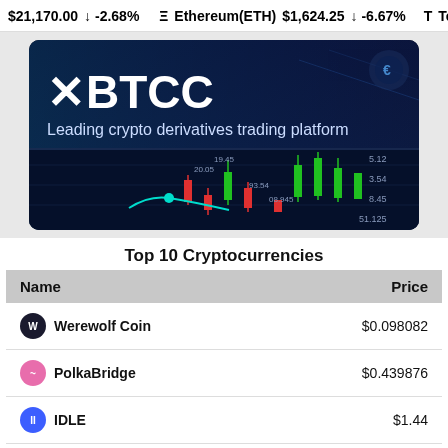$21,170.00 ↓ -2.68% Ethereum(ETH) $1,624.25 ↓ -6.67% Te
[Figure (screenshot): XBTCC advertisement banner: 'Leading crypto derivatives trading platform' with candlestick chart background]
Top 10 Cryptocurrencies
| Name | Price |
| --- | --- |
| Werewolf Coin | $0.098082 |
| PolkaBridge | $0.439876 |
| IDLE | $1.44 |
| Dev Protocol | $1.76 |
| EvidenZ | $0.122918 |
| B-cube.ai |  |